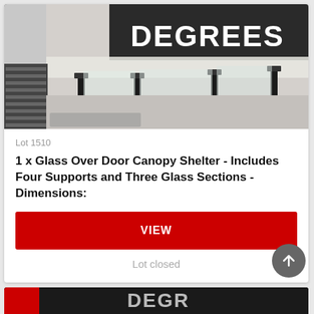[Figure (photo): Exterior photo of a commercial building showing glass over-door canopy shelter with four black metal supports and glass sections, with a 'DEGREES' signage visible in the background above the canopy. Black louvered panels visible on the left.]
Lot 1510
1 x Glass Over Door Canopy Shelter - Includes Four Supports and Three Glass Sections - Dimensions:
VIEW
Lot closed
[Figure (photo): Partial view of another auction lot photo at the bottom of the page, showing a dark building exterior with signage.]